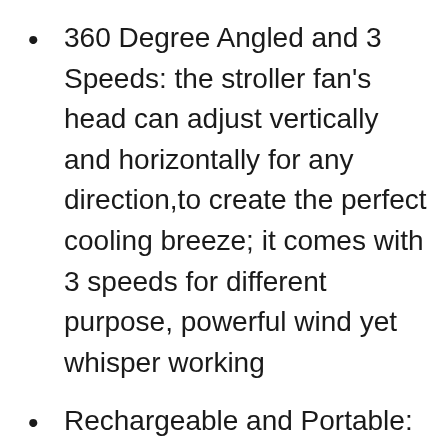360 Degree Angled and 3 Speeds: the stroller fan's head can adjust vertically and horizontally for any direction,to create the perfect cooling breeze; it comes with 3 speeds for different purpose, powerful wind yet whisper working
Rechargeable and Portable: comes with 2600mah battery, lasts 2.5-10 hours depending on winds, support USB charging via power bank laptop and any power source with USB output,a must have for you and your kids trip to Disneyland